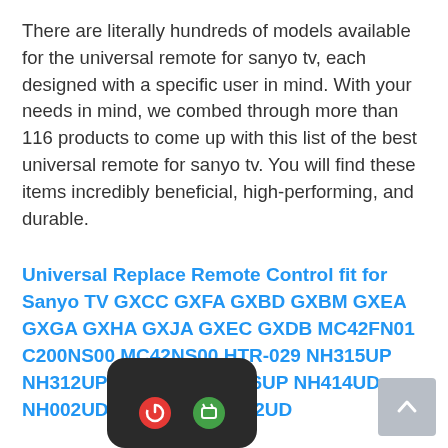There are literally hundreds of models available for the universal remote for sanyo tv, each designed with a specific user in mind. With your needs in mind, we combed through more than 116 products to come up with this list of the best universal remote for sanyo tv. You will find these items incredibly beneficial, high-performing, and durable.
Universal Replace Remote Control fit for Sanyo TV GXCC GXFA GXBD GXBM GXEA GXGA GXHA GXJA GXEC GXDB MC42FN01 C200NS00 MC42NS00 HTR-029 NH315UP NH312UP NH311UP NH316UP NH414UD NH002UD NH316UD NH432UD
[Figure (photo): Top portion of a black TV remote control showing power and another button]